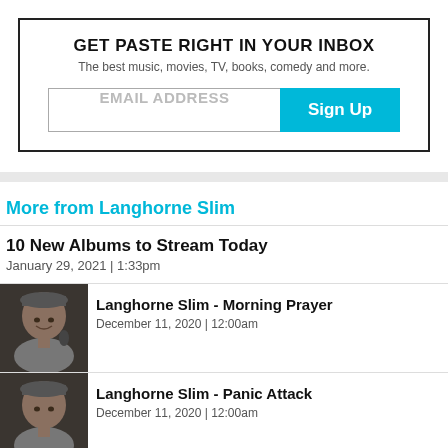GET PASTE RIGHT IN YOUR INBOX
The best music, movies, TV, books, comedy and more.
EMAIL ADDRESS
Sign Up
More from Langhorne Slim
10 New Albums to Stream Today
January 29, 2021  |  1:33pm
[Figure (photo): Photo of Langhorne Slim, a man wearing a cap near a microphone]
Langhorne Slim - Morning Prayer
December 11, 2020  |  12:00am
[Figure (photo): Another photo of Langhorne Slim]
Langhorne Slim - Panic Attack
December 11, 2020  |  12:00am